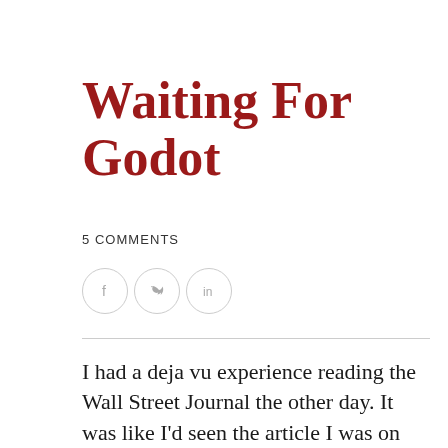Waiting For Godot
5 COMMENTS
[Figure (other): Social sharing icons: Facebook, Twitter, LinkedIn in circular outline buttons]
I had a deja vu experience reading the Wall Street Journal the other day. It was like I'd seen the article I was on before, and could even close my eyes and predict what the next